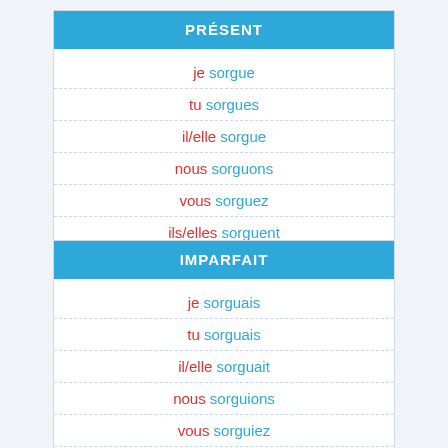| PRÉSENT |
| --- |
| je sorgue |
| tu sorgues |
| il/elle sorgue |
| nous sorguons |
| vous sorguez |
| ils/elles sorguent |
| IMPARFAIT |
| --- |
| je sorguais |
| tu sorguais |
| il/elle sorguait |
| nous sorguions |
| vous sorguiez |
| ils/elles sorguaient |